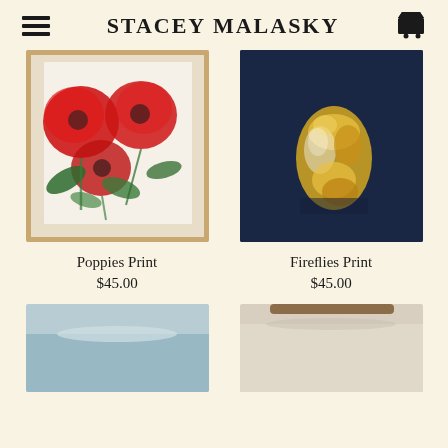STACEY MALASKY
[Figure (photo): Painting of red poppies with green leaves on white background, slightly tilted, framed]
Poppies Print
$45.00
[Figure (photo): Painting of a jar/vase with yellow abstract shapes on dark navy background]
Fireflies Print
$45.00
[Figure (photo): Partial view of artwork with blue/teal tones, cropped at bottom]
[Figure (photo): Partial view of artwork with light beige tones and a wooden hanger visible, cropped at bottom]